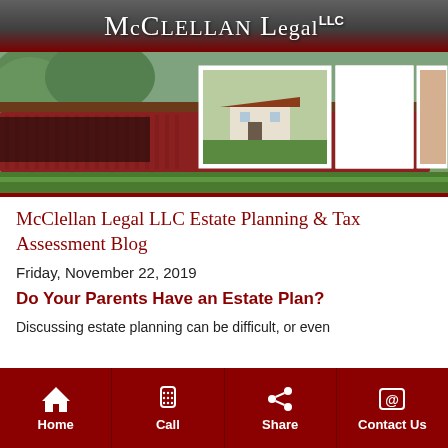McClellan Legal LLC
[Figure (photo): Header photo collage showing a red covered bridge, a white farmhouse, two horses in a green field, and a woman with a baby and an elderly man]
McClellan Legal LLC Estate Planning & Tax Assessment Blog
Friday, November 22, 2019
Do Your Parents Have an Estate Plan?
Discussing estate planning can be difficult, or even
Home | Call | Share | Contact Us